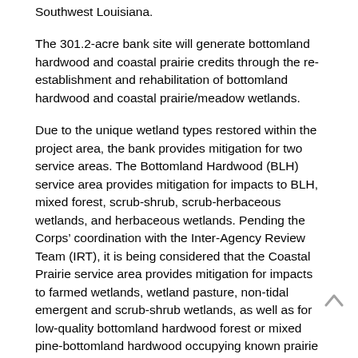Southwest Louisiana.
The 301.2-acre bank site will generate bottomland hardwood and coastal prairie credits through the re-establishment and rehabilitation of bottomland hardwood and coastal prairie/meadow wetlands.
Due to the unique wetland types restored within the project area, the bank provides mitigation for two service areas. The Bottomland Hardwood (BLH) service area provides mitigation for impacts to BLH, mixed forest, scrub-shrub, scrub-herbaceous wetlands, and herbaceous wetlands. Pending the Corps’ coordination with the Inter-Agency Review Team (IRT), it is being considered that the Coastal Prairie service area provides mitigation for impacts to farmed wetlands, wetland pasture, non-tidal emergent and scrub-shrub wetlands, as well as for low-quality bottomland hardwood forest or mixed pine-bottomland hardwood occupying known prairie soil mapping units.
Servicing All or Parts of the Following